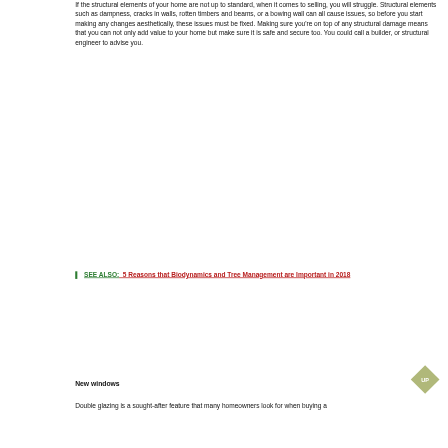If the structural elements of your home are not up to standard, when it comes to selling, you will struggle. Structural elements such as dampness, cracks in walls, rotten timbers and beams, or a bowing wall can all cause issues, so before you start making any changes aesthetically, these issues must be fixed. Making sure you're on top of any structural damage means that you can not only add value to your home but make sure it is safe and secure too. You could call a builder, or structural engineer to advise you.
SEE ALSO:  5 Reasons that Biodynamics and Tree Management are Important in 2018
New windows
Double glazing is a sought-after feature that many homeowners look for when buying a